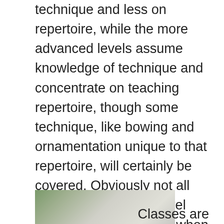technique and less on repertoire, while the more advanced levels assume knowledge of technique and concentrate on teaching repertoire, though some technique, like bowing and ornamentation unique to that repertoire, will certainly be covered. Obviously not all campers know what level they are best suited for when they sign up, so there is often some “switching around” at the beginning of camp. So campers should not feel they are “pigeonholing” themselves when they sign up.. Give it your best shot on the registration form and your instructors will move you if necessary.
[Figure (photo): A partially visible outdoor photo, appears to show a white tent or canopy with trees in the background.]
Classes are